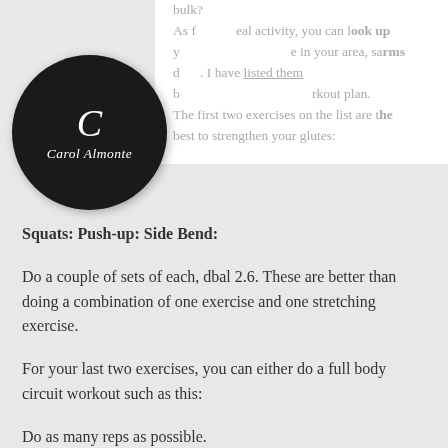bulk?
As for physical activity, you can look up your routine in your area, sarms could list. I have listed them below and set up your workout plan.
The first two exercises on the list are the best to strengthen your glutes:
[Figure (logo): Circular black logo with italic letter C and cursive text 'Carol Almonte']
Squats: Push-up: Side Bend:
Do a couple of sets of each, dbal 2.6. These are better than doing a combination of one exercise and one stretching exercise.
For your last two exercises, you can either do a full body circuit workout such as this:
Do as many reps as possible.